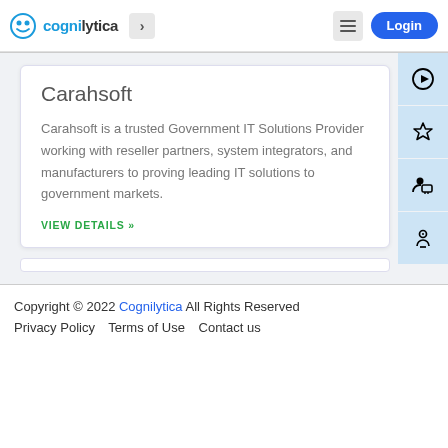Cognilytica > Login
Carahsoft
Carahsoft is a trusted Government IT Solutions Provider working with reseller partners, system integrators, and manufacturers to proving leading IT solutions to government markets.
VIEW DETAILS »
Copyright © 2022 Cognilytica All Rights Reserved
Privacy Policy   Terms of Use   Contact us